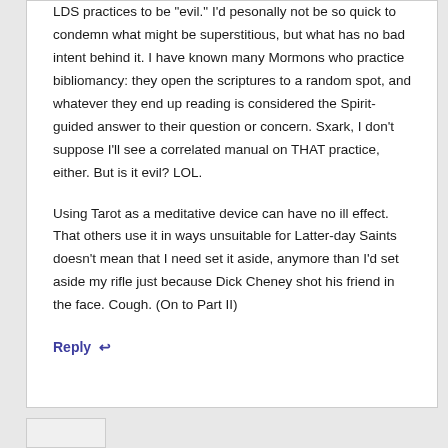LDS practices to be "evil." I'd pesonally not be so quick to condemn what might be superstitious, but what has no bad intent behind it. I have known many Mormons who practice bibliomancy: they open the scriptures to a random spot, and whatever they end up reading is considered the Spirit-guided answer to their question or concern. Sxark, I don't suppose I'll see a correlated manual on THAT practice, either. But is it evil? LOL.
Using Tarot as a meditative device can have no ill effect. That others use it in ways unsuitable for Latter-day Saints doesn't mean that I need set it aside, anymore than I'd set aside my rifle just because Dick Cheney shot his friend in the face. Cough. (On to Part II)
Reply ↩